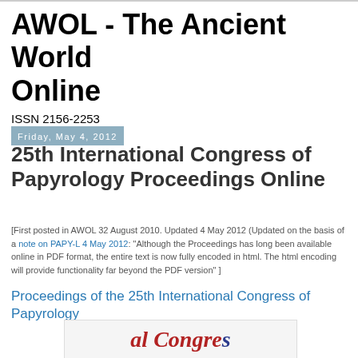AWOL - The Ancient World Online
ISSN 2156-2253
Friday, May 4, 2012
25th International Congress of Papyrology Proceedings Online
[First posted in AWOL 32 August 2010. Updated 4 May 2012 (Updated on the basis of a note on PAPY-L 4 May 2012: "Although the Proceedings has long been available online in PDF format, the entire text is now fully encoded in html. The html encoding will provide functionality far beyond the PDF version" ]
Proceedings of the 25th International Congress of Papyrology
[Figure (illustration): Partial view of a congress logo/header with red and blue italic text reading 'al Congre...']